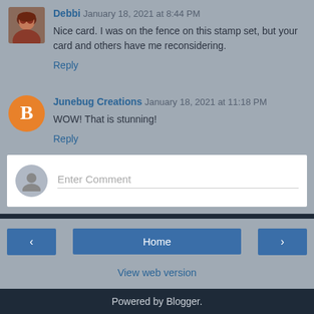Debbi January 18, 2021 at 8:44 PM
Nice card. I was on the fence on this stamp set, but your card and others have me reconsidering.
Reply
Junebug Creations January 18, 2021 at 11:18 PM
WOW! That is stunning!
Reply
Enter Comment
Home
View web version
Powered by Blogger.